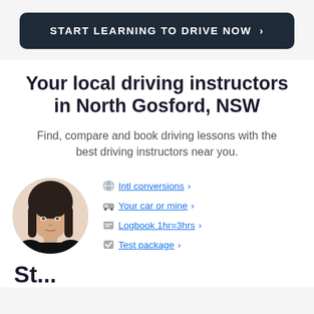START LEARNING TO DRIVE NOW >
Your local driving instructors in North Gosford, NSW
Find, compare and book driving lessons with the best driving instructors near you.
[Figure (photo): Circular portrait photo of a female driving instructor with dark hair, wearing a black top.]
Intl conversions >
Your car or mine >
Logbook 1hr=3hrs >
Test package >
St...